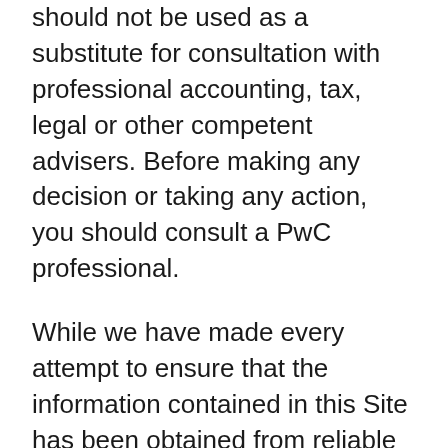should not be used as a substitute for consultation with professional accounting, tax, legal or other competent advisers. Before making any decision or taking any action, you should consult a PwC professional.
While we have made every attempt to ensure that the information contained in this Site has been obtained from reliable sources, PwC is not responsible for any errors or omissions, or for the results obtained from the use of this information. All information in this Site is provided "as is", with no guarantee of completeness, accuracy, timeliness or of the results obtained from the use of this information, and without warranty of any